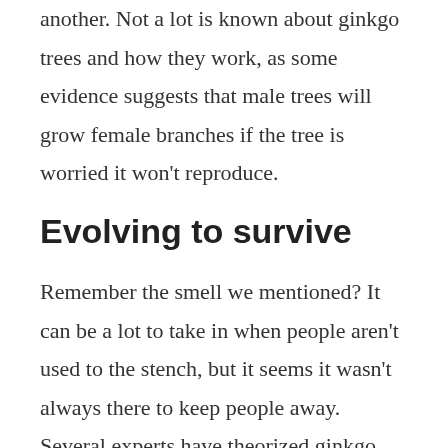another. Not a lot is known about ginkgo trees and how they work, as some evidence suggests that male trees will grow female branches if the tree is worried it won't reproduce.
Evolving to survive
Remember the smell we mentioned? It can be a lot to take in when people aren't used to the stench, but it seems it wasn't always there to keep people away. Several experts have theorized ginkgo